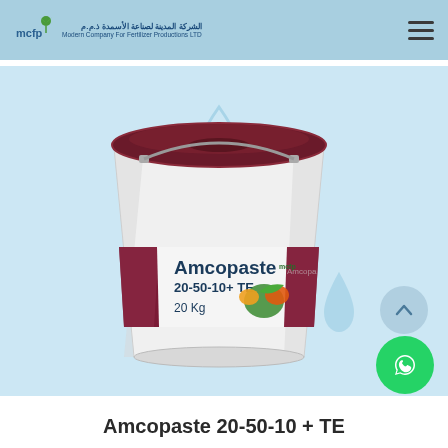Modern Company For Fertilizer Productions LTD | شركة المدينة لصناعة الأسمدة ذ.م.م
[Figure (photo): White plastic bucket with dark maroon lid labeled 'Amcopaste 20-50-10+ TE, 20 Kg' with MCFP logo and decorative plant/fruit imagery on the label, displayed on light blue background]
Amcopaste 20-50-10 + TE